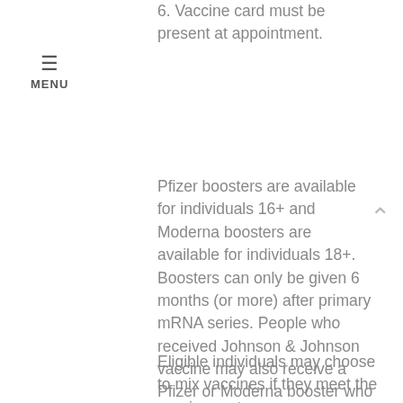6. Vaccine card must be present at appointment.
Pfizer boosters are available for individuals 16+ and Moderna boosters are available for individuals 18+. Boosters can only be given 6 months (or more) after primary mRNA series. People who received Johnson & Johnson vaccine may also receive a Pfizer or Moderna booster who are 18 and older and who were vaccinated two or more months ago.
Eligible individuals may choose to mix vaccines if they meet the requirements